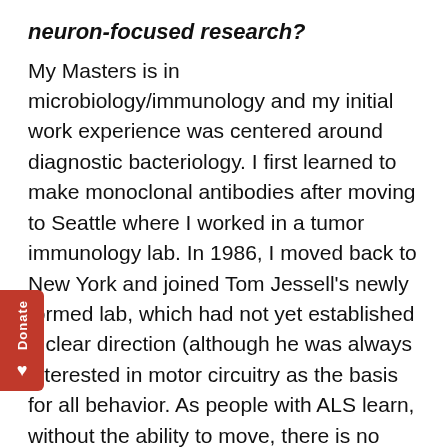neuron-focused research?
My Masters is in microbiology/immunology and my initial work experience was centered around diagnostic bacteriology. I first learned to make monoclonal antibodies after moving to Seattle where I worked in a tumor immunology lab. In 1986, I moved back to New York and joined Tom Jessell's newly formed lab, which had not yet established a clear direction (although he was always interested in motor circuitry as the basis for all behavior. As people with ALS learn, without the ability to move, there is no means of output (you are a prisoner with only your thoughts). In our early experiments, we took an unbiased approach: I made antibodies to cell membranes of whole spinal cord and looked for interesting staining patterns on tissue sections. I had a naive